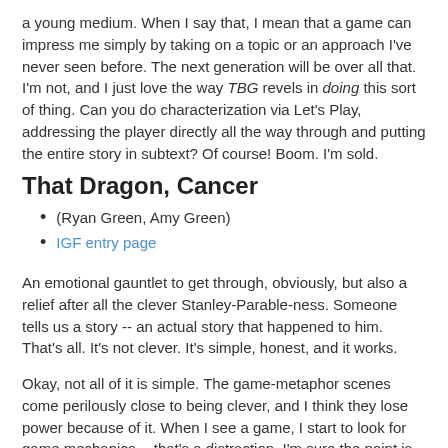a young medium. When I say that, I mean that a game can impress me simply by taking on a topic or an approach I've never seen before. The next generation will be over all that. I'm not, and I just love the way TBG revels in doing this sort of thing. Can you do characterization via Let's Play, addressing the player directly all the way through and putting the entire story in subtext? Of course! Boom. I'm sold.
That Dragon, Cancer
(Ryan Green, Amy Green)
IGF entry page
An emotional gauntlet to get through, obviously, but also a relief after all the clever Stanley-Parable-ness. Someone tells us a story -- an actual story that happened to him. That's all. It's not clever. It's simple, honest, and it works.
Okay, not all of it is simple. The game-metaphor scenes come perilously close to being clever, and I think they lose power because of it. When I see a game, I start to look for game mechanics -- that's a distraction. I'm sure the point is